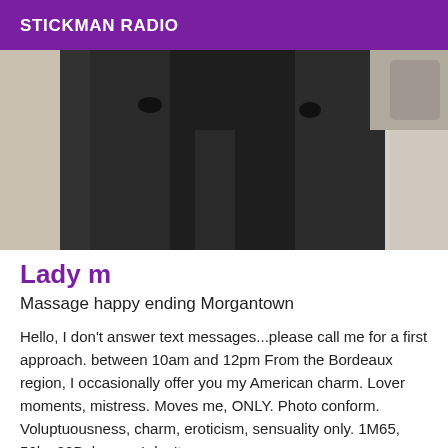STICKMAN RADIO
[Figure (photo): Close-up photo of a person wearing dark/black tight clothing, showing lower body/legs area, with a light beige background.]
Lady m
Massage happy ending Morgantown
Hello, I don't answer text messages...please call me for a first approach. between 10am and 12pm From the Bordeaux region, I occasionally offer you my American charm. Lover moments, mistress. Moves me, ONLY. Photo conform. Voluptuousness, charm, eroticism, sensuality only. 1M65, 56kg,90B, brown. I don't answer